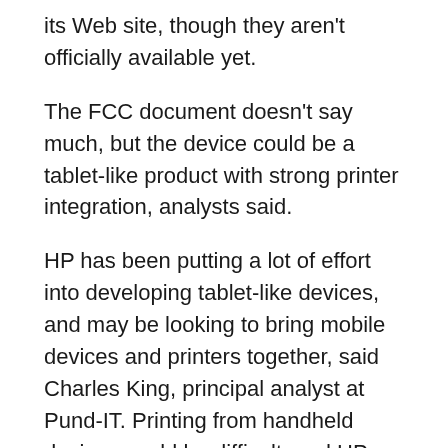its Web site, though they aren't officially available yet.
The FCC document doesn't say much, but the device could be a tablet-like product with strong printer integration, analysts said.
HP has been putting a lot of effort into developing tablet-like devices, and may be looking to bring mobile devices and printers together, said Charles King, principal analyst at Pund-IT. Printing from handheld devices could be difficult, and HP printers have traditionally been more aligned to PCs, he said.
By integrating the printer, HP could offer a tablet with stronger printing capabilities than Apple's iPad. That could make it easier to print pages from e-books, for example, King said.